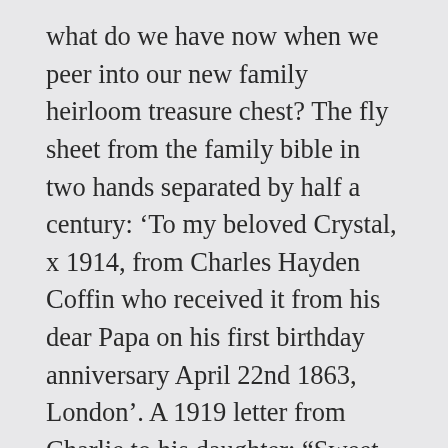what do we have now when we peer into our new family heirloom treasure chest? The fly sheet from the family bible in two hands separated by half a century: ‘To my beloved Crystal, x 1914, from Charles Hayden Coffin who received it from his dear Papa on his first birthday anniversary April 22nd 1863, London’. A 1919 letter from Charlie to his daughter: “Sweet Crystal. I was glad to get your letter and the drawing of Bowen. I shall soon be home now.  Please tell Mummie to get my room ready for Sunday or Monday.”